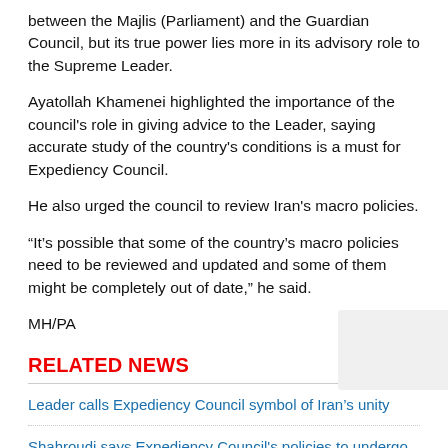between the Majlis (Parliament) and the Guardian Council, but its true power lies more in its advisory role to the Supreme Leader.
Ayatollah Khamenei highlighted the importance of the council's role in giving advice to the Leader, saying accurate study of the country's conditions is a must for Expediency Council.
He also urged the council to review Iran's macro policies.
“It’s possible that some of the country’s macro policies need to be reviewed and updated and some of them might be completely out of date,” he said.
MH/PA
RELATED NEWS
Leader calls Expediency Council symbol of Iran’s unity
Shahroudi says Expediency Council's policies to undergo revision